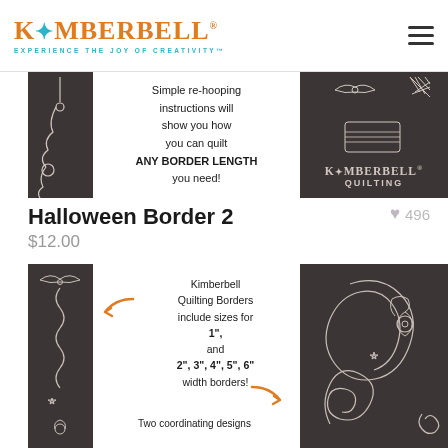[Figure (logo): Kimberbell logo with needle graphic and tagline 'EXPERIENCE THE JOY OF CREATIVITY']
[Figure (photo): Dark background product image showing quilting border design with swirly flower motif on left strip, text about re-hooping instructions in center, Kimberbell Quilting logo on right]
Halloween Border 2
$12.00
♥ 496
[Figure (photo): Dark background product image showing Halloween border quilting design with bat motif on left strip, orange arrow and size information in center, swirl and flower quilting design on right]